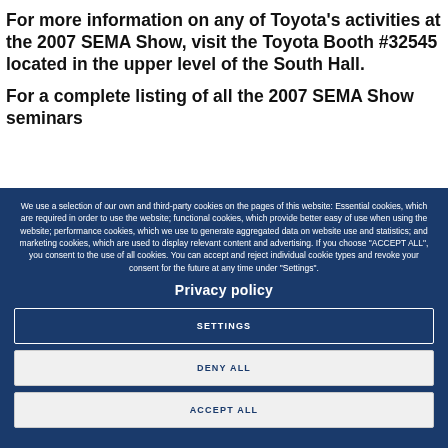For more information on any of Toyota's activities at the 2007 SEMA Show, visit the Toyota Booth #32545 located in the upper level of the South Hall.
For a complete listing of all the 2007 SEMA Show seminars
We use a selection of our own and third-party cookies on the pages of this website: Essential cookies, which are required in order to use the website; functional cookies, which provide better easy of use when using the website; performance cookies, which we use to generate aggregated data on website use and statistics; and marketing cookies, which are used to display relevant content and advertising. If you choose "ACCEPT ALL", you consent to the use of all cookies. You can accept and reject individual cookie types and revoke your consent for the future at any time under "Settings".
Privacy policy
SETTINGS
DENY ALL
ACCEPT ALL